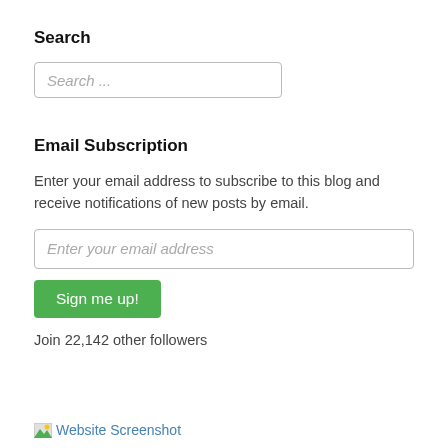Search
[Figure (screenshot): Search input box with placeholder text 'Search ...']
Email Subscription
Enter your email address to subscribe to this blog and receive notifications of new posts by email.
[Figure (screenshot): Email input box with placeholder text 'Enter your email address']
[Figure (screenshot): Green button labeled 'Sign me up!']
Join 22,142 other followers
[Figure (screenshot): Broken image icon followed by link text 'Website Screenshot']